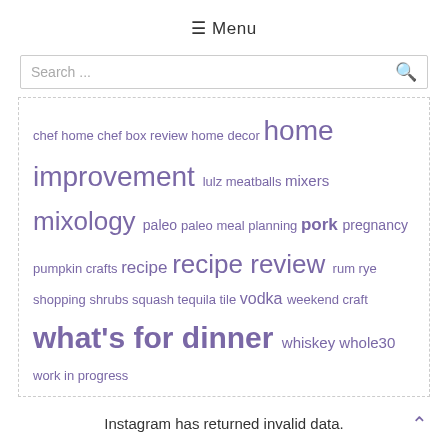≡ Menu
Search ...
chef home chef box review home decor home improvement lulz meatballs mixers mixology paleo paleo meal planning pork pregnancy pumpkin crafts recipe recipe review rum rye shopping shrubs squash tequila tile vodka weekend craft what's for dinner whiskey whole30 work in progress
Instagram has returned invalid data.
© 2016